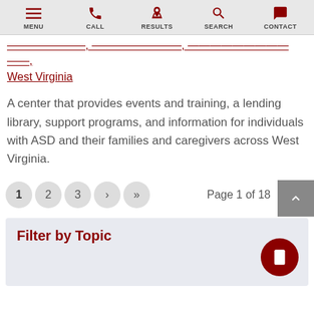MENU | CALL | RESULTS | SEARCH | CONTACT
West Virginia
A center that provides events and training, a lending library, support programs, and information for individuals with ASD and their families and caregivers across West Virginia.
Page 1 of 18
Filter by Topic